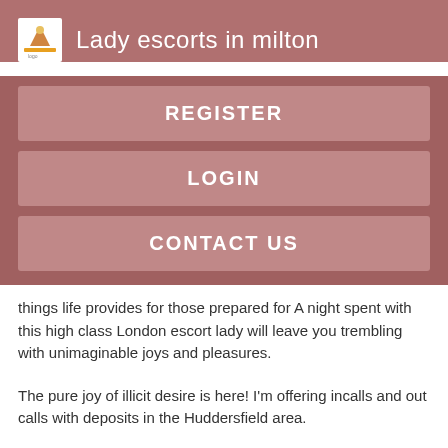Lady escorts in milton
REGISTER
LOGIN
CONTACT US
things life provides for those prepared for A night spent with this high class London escort lady will leave you trembling with unimaginable joys and pleasures.
The pure joy of illicit desire is here! I'm offering incalls and out calls with deposits in the Huddersfield area.
[Figure (photo): Partial view of a person's dark hair against a dark background]